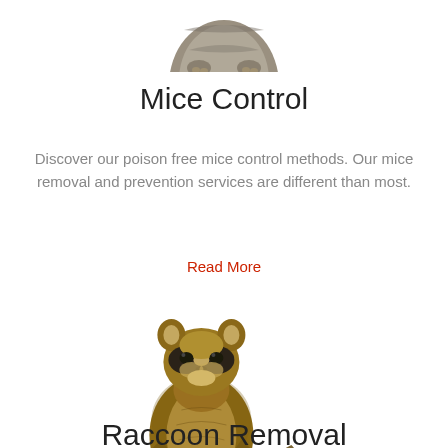[Figure (photo): Partial view of a cat or small animal from above, showing only the top/back portion, cropped at the top of the page]
Mice Control
Discover our poison free mice control methods. Our mice removal and prevention services are different than most.
Read More
[Figure (photo): A raccoon standing upright on its hind legs against a white background, facing forward with striped tail visible]
Raccoon Removal